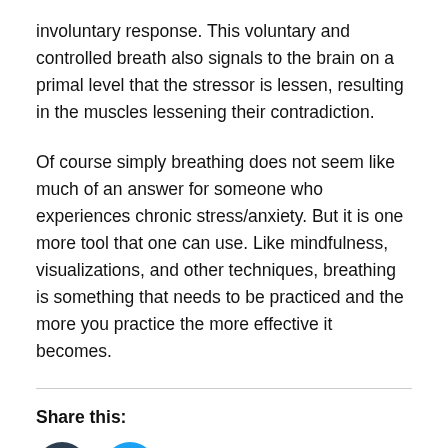involuntary response. This voluntary and controlled breath also signals to the brain on a primal level that the stressor is lessen, resulting in the muscles lessening their contradiction.
Of course simply breathing does not seem like much of an answer for someone who experiences chronic stress/anxiety. But it is one more tool that one can use. Like mindfulness, visualizations, and other techniques, breathing is something that needs to be practiced and the more you practice the more effective it becomes.
Share this:
[Figure (other): Two social media share buttons: Tumblr (dark circle with 't') and Twitter (blue circle with bird icon)]